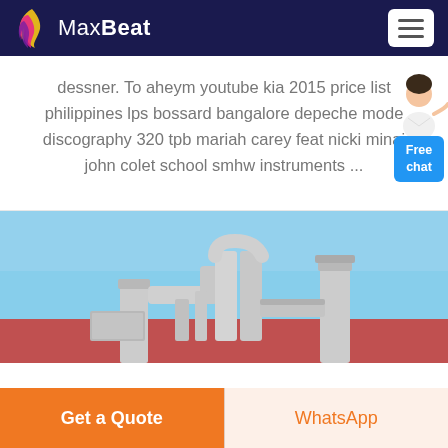MaxBeat
dessner. To aheym youtube kia 2015 price list philippines lps bossard bangalore depeche mode discography 320 tpb mariah carey feat nicki minaj john colet school smhw instruments ...
[Figure (photo): Industrial ventilation pipes and ductwork equipment on a rooftop against a blue sky]
Get a Quote
WhatsApp